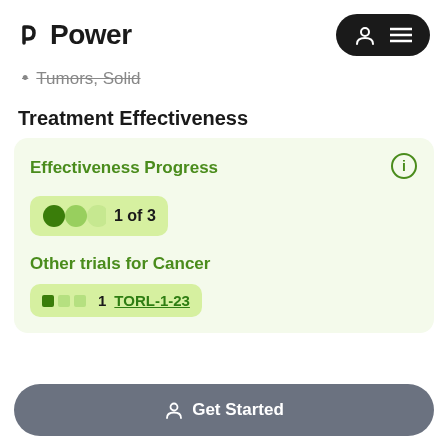Power
Tumors, Solid
Treatment Effectiveness
Effectiveness Progress
1 of 3
Other trials for Cancer
1  TORL-1-23
Get Started